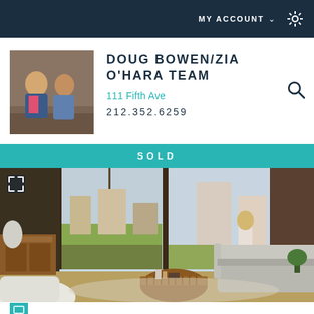MY ACCOUNT
[Figure (photo): Real estate agent team profile photo showing two people sitting on steps]
DOUG BOWEN/ZIA O'HARA TEAM
111 Fifth Ave
212.352.6259
SOLD
[Figure (photo): Interior photo of a modern living room with large windows overlooking a city skyline, featuring a gray sofa, round wood coffee table, white armchair, and decorative items]
[Figure (photo): Teal icon box at bottom left corner]